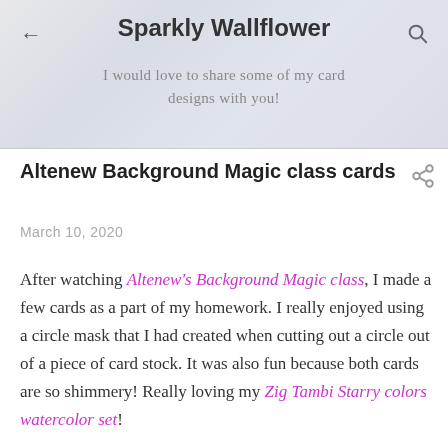Sparkly Wallflower
I would love to share some of my card designs with you!
Altenew Background Magic class cards
March 10, 2020
After watching Altenew's Background Magic class, I made a few cards as a part of my homework. I really enjoyed using a circle mask that I had created when cutting out a circle out of a piece of card stock. It was also fun because both cards are so shimmery! Really loving my Zig Tambi Starry colors watercolor set!